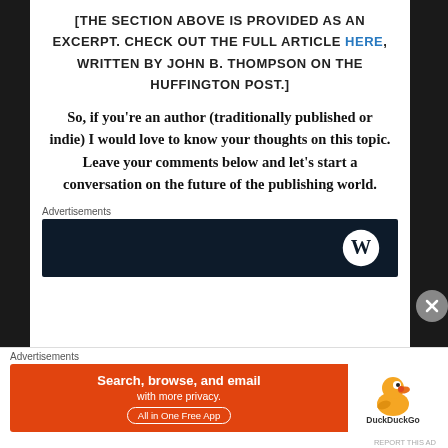[THE SECTION ABOVE IS PROVIDED AS AN EXCERPT. CHECK OUT THE FULL ARTICLE HERE, WRITTEN BY JOHN B. THOMPSON ON THE HUFFINGTON POST.]
So, if you're an author (traditionally published or indie) I would love to know your thoughts on this topic. Leave your comments below and let's start a conversation on the future of the publishing world.
Advertisements
[Figure (screenshot): Dark navy advertisement banner with WordPress logo (white circle with W) on the right side]
Advertisements
[Figure (screenshot): DuckDuckGo advertisement: orange left panel with 'Search, browse, and email with more privacy. All in One Free App' text; white right panel with DuckDuckGo duck logo]